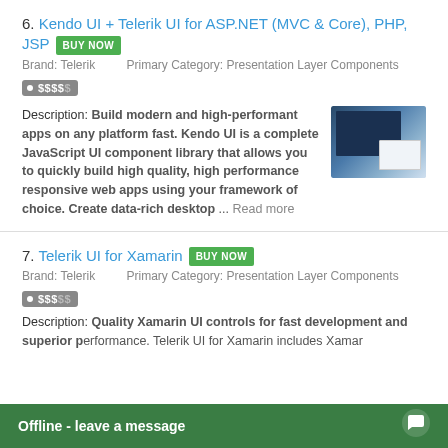6. Kendo UI + Telerik UI for ASP.NET (MVC & Core), PHP, JSP  [BUY NOW]
Brand: Telerik    Primary Category: Presentation Layer Components
• $$$$ $
Description: Build modern and high-performant apps on any platform fast. Kendo UI is a complete JavaScript UI component library that allows you to quickly build high quality, high performance responsive web apps using your framework of choice. Create data-rich desktop ... Read more
[Figure (screenshot): Screenshot of Kendo UI product showing desktop and tablet views]
7. Telerik UI for Xamarin  [BUY NOW]
Brand: Telerik    Primary Category: Presentation Layer Components
• $$$ $$
Description: Quality Xamarin UI controls for fast development and superior performance. Telerik UI for Xamarin includes Xamar...